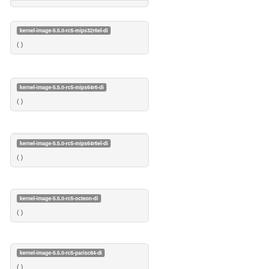[Figure (other): Partial card at top, clipped]
kernel-image-5.5.0-rc5-mips32r6el-di
( )
kernel-image-5.5.0-rc5-mips64r6-di
( )
kernel-image-5.5.0-rc5-mips64r6el-di
( )
kernel-image-5.5.0-rc5-octeon-di
( )
kernel-image-5.5.0-rc5-parisc64-di
( )